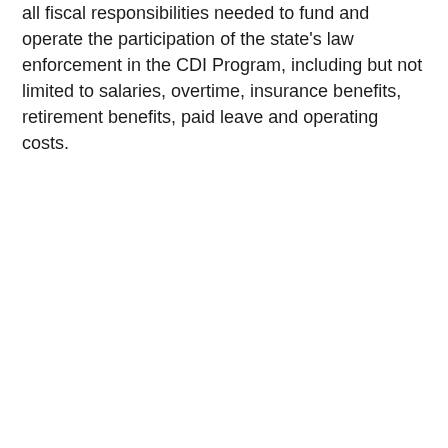all fiscal responsibilities needed to fund and operate the participation of the state's law enforcement in the CDI Program, including but not limited to salaries, overtime, insurance benefits, retirement benefits, paid leave and operating costs.